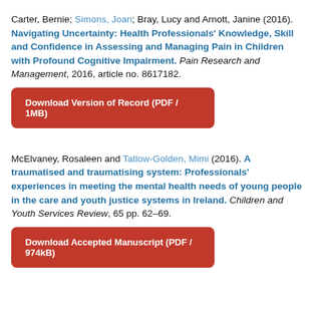Carter, Bernie; Simons, Joan; Bray, Lucy and Arnott, Janine (2016). Navigating Uncertainty: Health Professionals' Knowledge, Skill and Confidence in Assessing and Managing Pain in Children with Profound Cognitive Impairment. Pain Research and Management, 2016, article no. 8617182.
Download Version of Record (PDF / 1MB)
McElvaney, Rosaleen and Tatlow-Golden, Mimi (2016). A traumatised and traumatising system: Professionals' experiences in meeting the mental health needs of young people in the care and youth justice systems in Ireland. Children and Youth Services Review, 65 pp. 62–69.
Download Accepted Manuscript (PDF / 974kB)